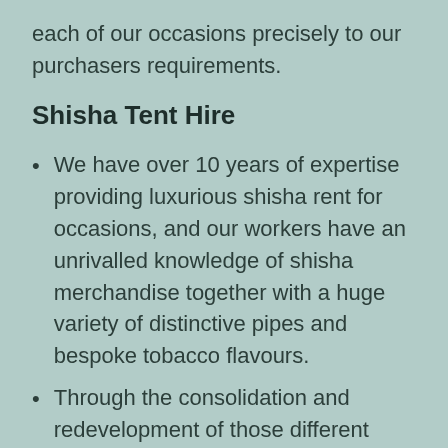each of our occasions precisely to our purchasers requirements.
Shisha Tent Hire
We have over 10 years of expertise providing luxurious shisha rent for occasions, and our workers have an unrivalled knowledge of shisha merchandise together with a huge variety of distinctive pipes and bespoke tobacco flavours.
Through the consolidation and redevelopment of those different council buildings, the property that has been...